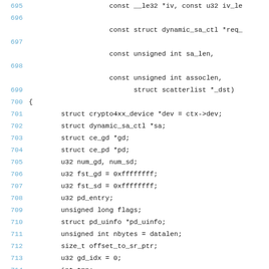Source code listing lines 695-715, showing C function parameters and local variable declarations for a crypto device function.